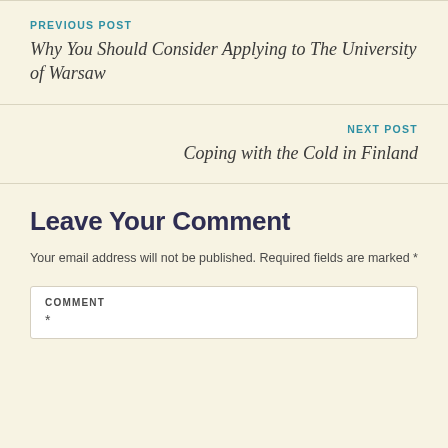PREVIOUS POST
Why You Should Consider Applying to The University of Warsaw
NEXT POST
Coping with the Cold in Finland
Leave Your Comment
Your email address will not be published. Required fields are marked *
COMMENT *